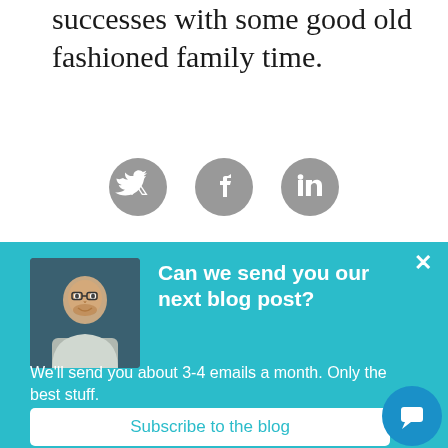successes with some good old fashioned family time.
[Figure (other): Three social media share icons (Twitter, Facebook, LinkedIn) as grey circles]
[Figure (infographic): Teal popup box with photo of a man, close button, title 'Can we send you our next blog post?', body text 'We’ll send you about 3-4 emails a month. Only the best stuff.', subscribe button, and chat bubble icon]
Can we send you our next blog post?
We'll send you about 3-4 emails a month. Only the best stuff.
Subscribe to the blog